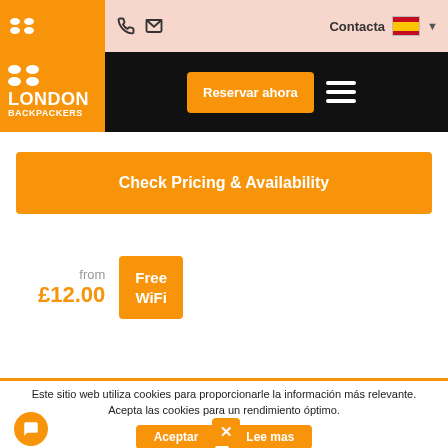[Figure (logo): London Backpackers logo with orange background, dots, and white text]
Contacta
Check Pricing & Availability
from £12.00
Free WiFi
Este sitio web utiliza cookies para proporcionarle la información más relevante. Acepta las cookies para un rendimiento óptimo.
Aceptar
Lee mas